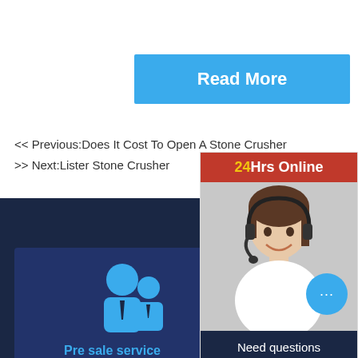Read More
<< Previous:Does It Cost To Open A Stone Crusher
>> Next:Lister Stone Crusher
[Figure (illustration): 24Hrs Online customer support widget with a woman wearing a headset, a blue chat bubble with ellipsis, Need questions & suggestion? text, and a red Chat Now button]
QUALITY SERVIC
[Figure (illustration): Blue icon of two people (customer service representatives) on a dark navy background]
Pre sale service
Enquire